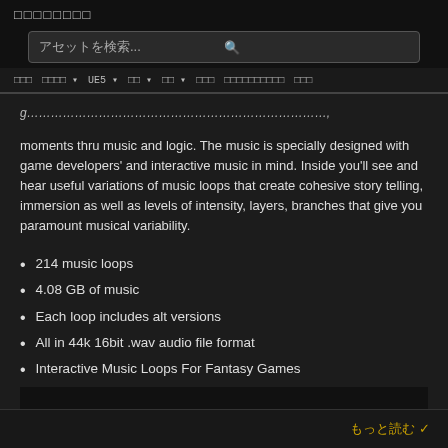□□□□□□□□
アセットを検索...
□□□  □□□□ ▾  UE5 ▾  □□ ▾  □□ ▾  □□□  □□□□□□□□□□  □□□
moments thru music and logic. The music is specially designed with game developers' and interactive music in mind. Inside you'll see and hear useful variations of music loops that create cohesive story telling, immersion as well as levels of intensity, layers, branches that give you paramount musical variability.
214 music loops
4.08 GB of music
Each loop includes alt versions
All in 44k 16bit .wav audio file format
Interactive Music Loops For Fantasy Games
もっと読む ✓